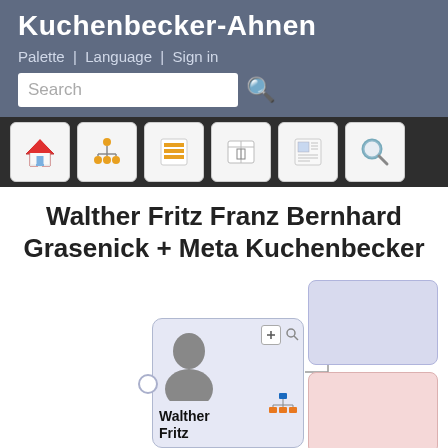Kuchenbecker-Ahnen
Palette | Language | Sign in
[Figure (screenshot): Website header with search bar, navigation icons for home, family tree, list, book, newspaper, and magnifier tools, followed by a genealogy tree showing Walther Fritz Franz Bernhard Grasenick + Meta Kuchenbecker with person card and parent boxes]
Walther Fritz Franz Bernhard Grasenick + Meta Kuchenbecker